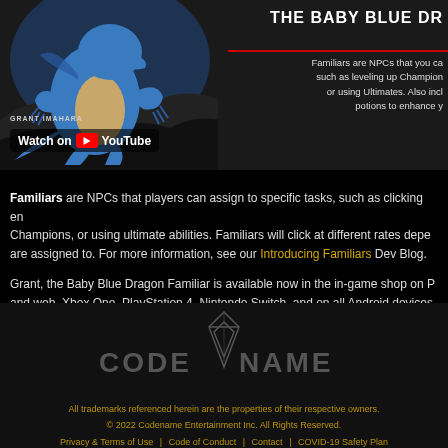[Figure (screenshot): Video thumbnail showing a blue dragon character with 'Watch on YouTube' overlay and partial title 'THE BABY BLUE DR' with description about Familiars being NPCs]
Familiars are NPCs that players can assign to specific tasks, such as clicking enemies, leveling up Champions, or using ultimate abilities. Familiars will click at different rates depending on the task they are assigned to. For more information, see our Introducing Familiars Dev Blog.
Grant, the Baby Blue Dragon Familiar is available now in the in-game shop on PC and web, Xbox One, PlayStation 4, Nintendo Switch, and on all Android devices.
[Figure (logo): Codename Entertainment logo with diamond/gem icon]
All trademarks referenced herein are the properties of their respective owners.
© 2022 Codename Entertainment Inc. All Rights Reserved.
Privacy & Terms of Use | Code of Conduct | Contact | COVID-19 Safety Plan